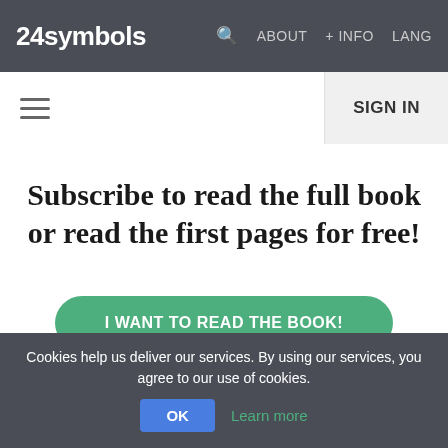24symbols   ABOUT   + INFO   LANG
SIGN IN
Subscribe to read the full book or read the first pages for free!
I WANT TO READ THE BOOK!
[Figure (screenshot): Partial book cover image with dark background and decorative text]
Cookies help us deliver our services. By using our services, you agree to our use of cookies.
OK   Learn more